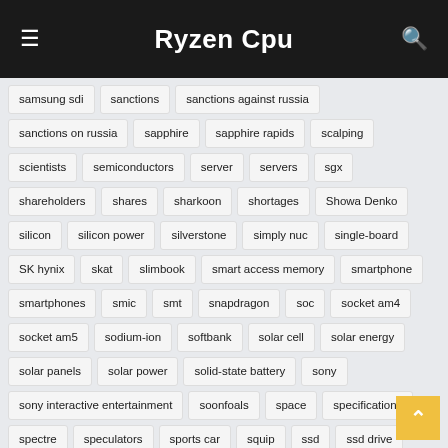Ryzen Cpu
samsung sdi
sanctions
sanctions against russia
sanctions on russia
sapphire
sapphire rapids
scalping
scientists
semiconductors
server
servers
sgx
shareholders
shares
sharkoon
shortages
Showa Denko
silicon
silicon power
silverstone
simply nuc
single-board
SK hynix
skat
slimbook
smart access memory
smartphone
smartphones
smic
smt
snapdragon
soc
socket am4
socket am5
sodium-ion
softbank
solar cell
solar energy
solar panels
solar power
solid-state battery
sony
sony interactive entertainment
soonfoals
space
specifications
spectre
speculators
sports car
squip
ssd
ssd drive